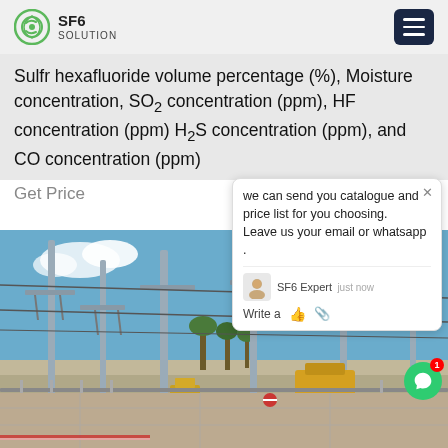SF6 SOLUTION
Sulfr hexafluoride volume percentage (%), Moisture concentration, SO2 concentration (ppm), HF concentration (ppm) H2S concentration (ppm), and CO concentration (ppm)
Get Price
[Figure (screenshot): Chat popup widget showing message: 'we can send you catalogue and price list for you choosing. Leave us your email or whatsapp .' with SF6 Expert agent avatar and 'just now' timestamp, write input area with thumbs up and attachment icons.]
[Figure (photo): Outdoor electrical substation with tall grey metal poles, insulators, high-voltage transmission equipment, concrete walls, trees and blue sky in background.]